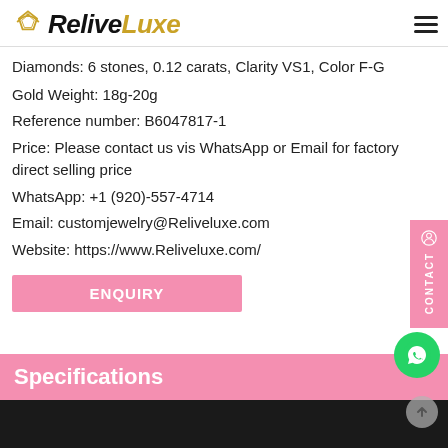ReliveLuxe
Diamonds: 6 stones, 0.12 carats, Clarity VS1, Color F-G
Gold Weight: 18g-20g
Reference number: B6047817-1
Price: Please contact us vis WhatsApp or Email for factory direct selling price
WhatsApp: +1 (920)-557-4714
Email: customjewelry@Reliveluxe.com
Website: https://www.Reliveluxe.com/
ENQUIRY
Specifications